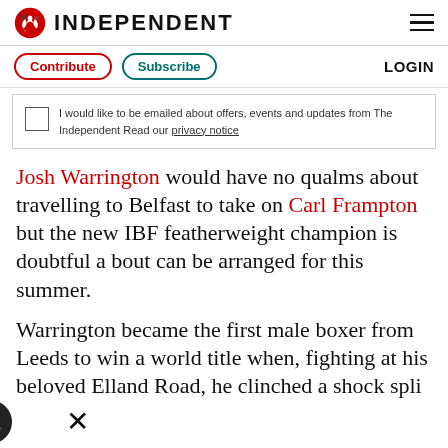INDEPENDENT
Contribute  Subscribe  LOGIN
I would like to be emailed about offers, events and updates from The Independent Read our privacy notice
Josh Warrington would have no qualms about travelling to Belfast to take on Carl Frampton but the new IBF featherweight champion is doubtful a bout can be arranged for this summer.
Warrington became the first male boxer from Leeds to win a world title when, fighting at his beloved Elland Road, he clinched a shock spli